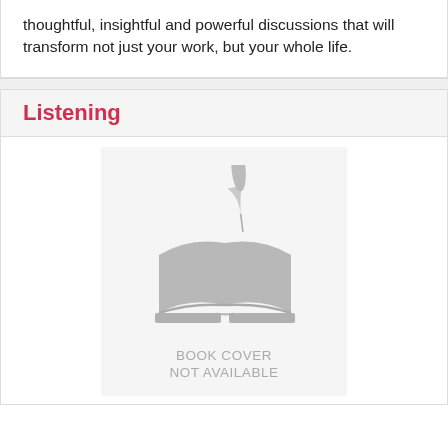thoughtful, insightful and powerful discussions that will transform not just your work, but your whole life.
Listening
[Figure (illustration): Placeholder book cover image showing an open book with a quill/feather pen above it, in grey tones, with text 'BOOK COVER NOT AVAILABLE' below the icon]